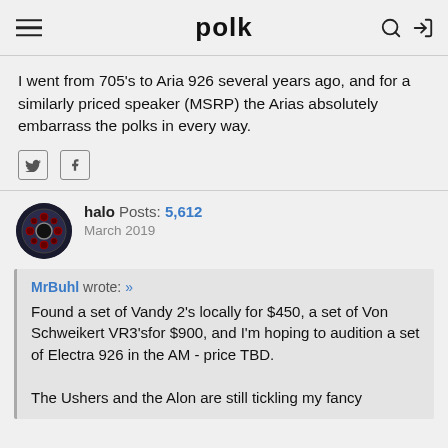polk
I went from 705's to Aria 926 several years ago, and for a similarly priced speaker (MSRP) the Arias absolutely embarrass the polks in every way.
halo  Posts: 5,612  March 2019
MrBuhl wrote: » Found a set of Vandy 2's locally for $450, a set of Von Schweikert VR3'sfor $900, and I'm hoping to audition a set of Electra 926 in the AM - price TBD.

The Ushers and the Alon are still tickling my fancy